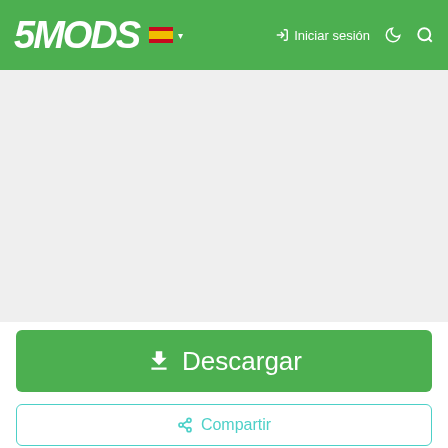5MODS — Iniciar sesión
[Figure (screenshot): Advertisement/banner placeholder area (gray background)]
Descargar
Compartir
[Figure (photo): Fighter jet (F-14 style) taking off from aircraft carrier with steam/mist]
rechkunov
[Figure (logo): Donar con PayPal button (blue)]
[Figure (logo): Partially visible orange/red button at bottom]